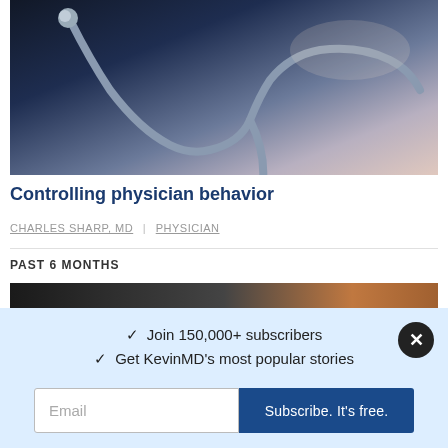[Figure (photo): Close-up photo of a medical stethoscope on a dark blue/purple surface with warm light in the background]
Controlling physician behavior
CHARLES SHARP, MD | PHYSICIAN
PAST 6 MONTHS
[Figure (photo): Partial image strip showing a dark surface with a reddish-brown element on the right side]
✓ Join 150,000+ subscribers
✓ Get KevinMD's most popular stories
Email
Subscribe. It's free.